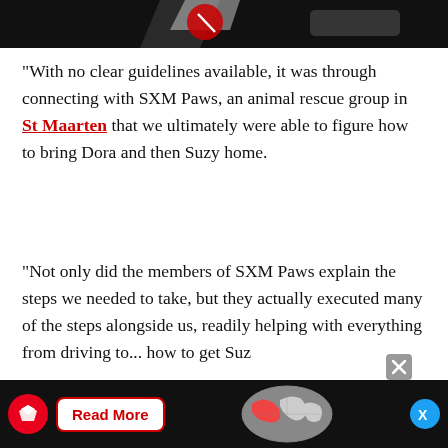[Figure (photo): Partial dark banner image at top of page with red and white graphic elements visible]
“With no clear guidelines available, it was through connecting with SXM Paws, an animal rescue group in St Maarten that we ultimately were able to figure how to bring Dora and then Suzy home.
“Not only did the members of SXM Paws explain the steps we needed to take, but they actually executed many of the steps alongside us, readily helping with everything from driving to... how to get Suz...
[Figure (infographic): Bottom advertisement bar with dark background, red circular logo with bird icon, Read More button, globe graphic, close X button, and blue X (Twitter) icon]